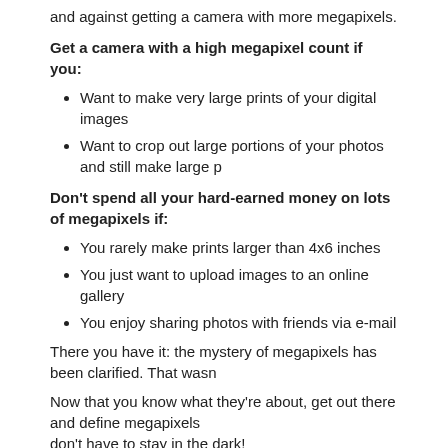and against getting a camera with more megapixels.
Get a camera with a high megapixel count if you:
Want to make very large prints of your digital images
Want to crop out large portions of your photos and still make large p
Don't spend all your hard-earned money on lots of megapixels if:
You rarely make prints larger than 4x6 inches
You just want to upload images to an online gallery
You enjoy sharing photos with friends via e-mail
There you have it: the mystery of megapixels has been clarified. That wasn't too bad, was it?
Now that you know what they're about, get out there and define megapixels for yourself! You don't have to stay in the dark!
Back to Define Digital SLR Terms
Shop Now
[Figure (photo): Three camera product images shown at the bottom of the page]